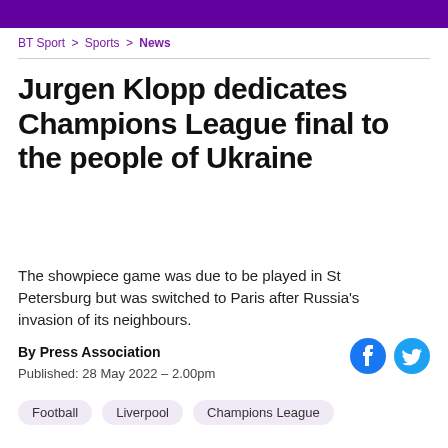BT Sport > Sports > News
Jurgen Klopp dedicates Champions League final to the people of Ukraine
The showpiece game was due to be played in St Petersburg but was switched to Paris after Russia's invasion of its neighbours.
By Press Association
Published: 28 May 2022 – 2.00pm
Football
Liverpool
Champions League